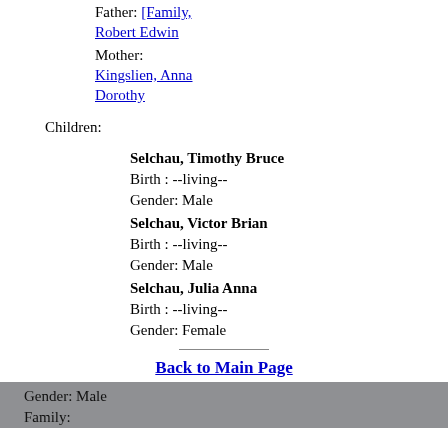Father: [link] Robert Edwin
Mother: Kingslien, Anna Dorothy
Children:
Selchau, Timothy Bruce
Birth : --living--
Gender: Male
Selchau, Victor Brian
Birth : --living--
Gender: Male
Selchau, Julia Anna
Birth : --living--
Gender: Female
Back to Main Page
Wettenberg, Kenneth
Birth : --living--
Gender: Male
Family: